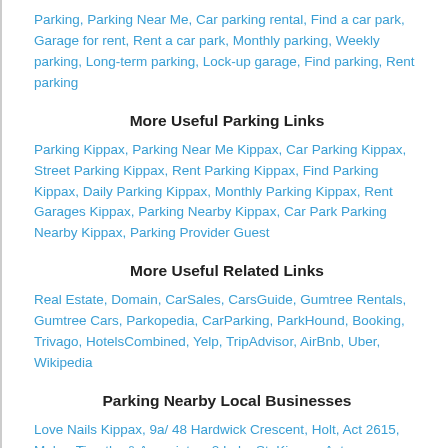Parking, Parking Near Me, Car parking rental, Find a car park, Garage for rent, Rent a car park, Monthly parking, Weekly parking, Long-term parking, Lock-up garage, Find parking, Rent parking
More Useful Parking Links
Parking Kippax, Parking Near Me Kippax, Car Parking Kippax, Street Parking Kippax, Rent Parking Kippax, Find Parking Kippax, Daily Parking Kippax, Monthly Parking Kippax, Rent Garages Kippax, Parking Nearby Kippax, Car Park Parking Nearby Kippax, Parking Provider Guest
More Useful Related Links
Real Estate, Domain, CarSales, CarsGuide, Gumtree Rentals, Gumtree Cars, Parkopedia, CarParking, ParkHound, Booking, Trivago, HotelsCombined, Yelp, TripAdvisor, AirBnb, Uber, Wikipedia
Parking Nearby Local Businesses
Love Nails Kippax, 9a/ 48 Hardwick Crescent, Holt, Act 2615, Maher Timothy & Associates, 2 Luke St, Kippax, Act